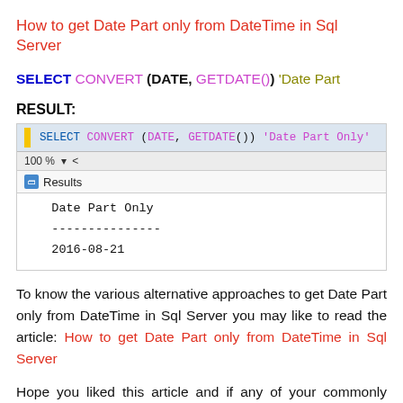How to get Date Part only from DateTime in Sql Server
SELECT CONVERT (DATE, GETDATE()) 'Date Part
RESULT:
[Figure (screenshot): SQL Server Management Studio result showing: SELECT CONVERT (DATE, GETDATE()) 'Date Part Only' with result table showing Date Part Only column with value 2016-08-21]
To know the various alternative approaches to get Date Part only from DateTime in Sql Server you may like to read the article: How to get Date Part only from DateTime in Sql Server
Hope you liked this article and if any of your commonly used query is not listed here, please let me know. I will definitely post it and we can help together to the Sql Server